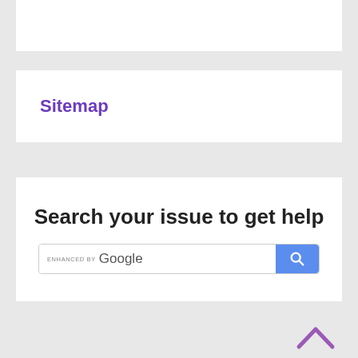Sitemap
Search your issue to get help
[Figure (screenshot): Search bar with 'ENHANCED BY Google' label and a blue search button with magnifying glass icon]
[Figure (other): Purple chevron/up-arrow icon at bottom right]